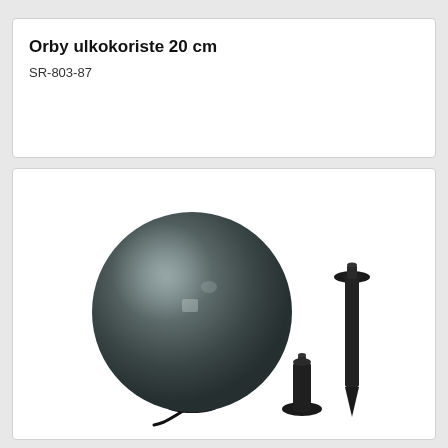Orby ulkokoriste 20 cm
SR-803-87
[Figure (photo): Product photo showing a dark smoky grey globe lamp (Orby outdoor decoration 20 cm) on a black base with a power cord, accompanied by two black mounting accessories: a short pedestal/cylinder and a tall ground stake with a pointed bottom end.]